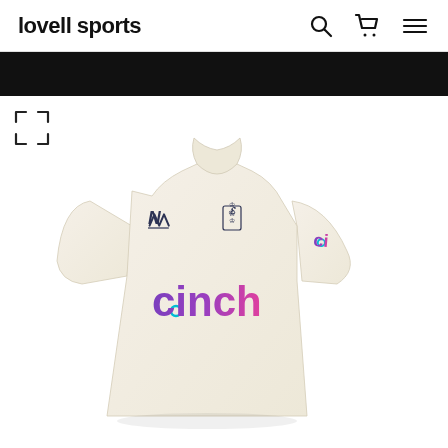lovell sports
[Figure (photo): England cricket Test match white/cream polo shirt with New Balance logo on left chest, England three lions badge on right chest, cinch sponsor logo in gradient purple-to-pink on front, cinch branding on right sleeve. Displayed on a mannequin torso against white background.]